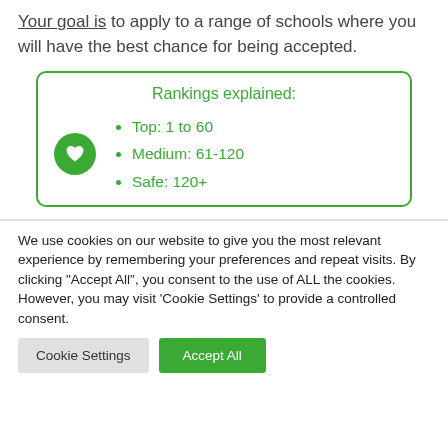Your goal is to apply to a range of schools where you will have the best chance for being accepted.
Rankings explained:
Top: 1 to 60
Medium: 61-120
Safe: 120+
We use cookies on our website to give you the most relevant experience by remembering your preferences and repeat visits. By clicking "Accept All", you consent to the use of ALL the cookies. However, you may visit 'Cookie Settings' to provide a controlled consent.